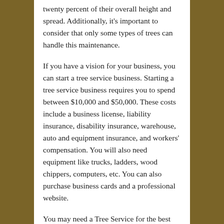twenty percent of their overall height and spread. Additionally, it's important to consider that only some types of trees can handle this maintenance.
If you have a vision for your business, you can start a tree service business. Starting a tree service business requires you to spend between $10,000 and $50,000. These costs include a business license, liability insurance, disability insurance, warehouse, auto and equipment insurance, and workers' compensation. You will also need equipment like trucks, ladders, wood chippers, computers, etc. You can also purchase business cards and a professional website.
You may need a Tree Service for the best care and safety if you have a large tree. A tree service company knows how to safely cut out weak branches and cables, minimizing the risk of injury to others. A professional Tree Service will also be able to remove the tree stump and clean up the debris safely. They will also be able to rehabilitate your trees with pruning and cabling. The